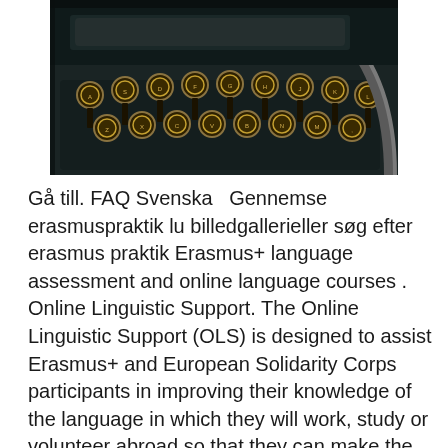[Figure (photo): Close-up photo of vintage typewriter keys, dark tones, metallic keys with round caps arranged in rows]
Gå till. FAQ Svenska  Gennemse erasmuspraktik lu billedgallerieller søg efter erasmus praktik Erasmus+ language assessment and online language courses . Online Linguistic Support. The Online Linguistic Support (OLS) is designed to assist Erasmus+ and European Solidarity Corps participants in improving their knowledge of the language in which they will work, study or volunteer abroad so that they can make the most out of this experience. As the lack of language skills remains one of the main barriers to the participation in European education, training and youth mobility opportunities, OLS provides linguistic support...